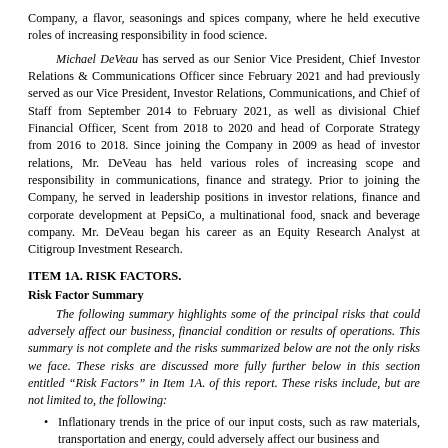Company, a flavor, seasonings and spices company, where he held executive roles of increasing responsibility in food science.
Michael DeVeau has served as our Senior Vice President, Chief Investor Relations & Communications Officer since February 2021 and had previously served as our Vice President, Investor Relations, Communications, and Chief of Staff from September 2014 to February 2021, as well as divisional Chief Financial Officer, Scent from 2018 to 2020 and head of Corporate Strategy from 2016 to 2018. Since joining the Company in 2009 as head of investor relations, Mr. DeVeau has held various roles of increasing scope and responsibility in communications, finance and strategy. Prior to joining the Company, he served in leadership positions in investor relations, finance and corporate development at PepsiCo, a multinational food, snack and beverage company. Mr. DeVeau began his career as an Equity Research Analyst at Citigroup Investment Research.
ITEM 1A. RISK FACTORS.
Risk Factor Summary
The following summary highlights some of the principal risks that could adversely affect our business, financial condition or results of operations. This summary is not complete and the risks summarized below are not the only risks we face. These risks are discussed more fully further below in this section entitled “Risk Factors” in Item 1A. of this report. These risks include, but are not limited to, the following:
Inflationary trends in the price of our input costs, such as raw materials, transportation and energy, could adversely affect our business and